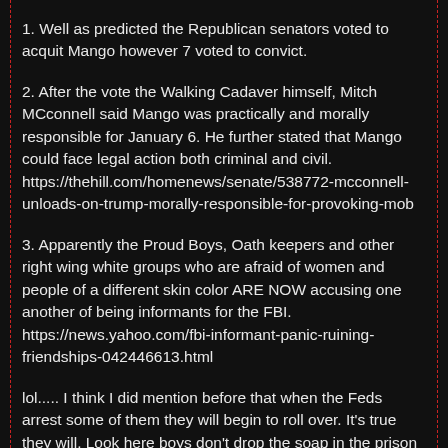1. Well as predicted the Republican senators voted to acquit Mango however 7 voted to convict.
2. After the vote the Walking Cadaver himself, Mitch MCconnell said Mango was practically and morally responsible for January 6. He further stated that Mango could face legal action both criminal and civil. https://thehill.com/homenews/senate/538772-mcconnell-unloads-on-trump-morally-responsible-for-provoking-mob
3. Apparently the Proud Boys, Oath keepers and other right wing white groups who are afraid of women and people of a different skin color ARE NOW accusing one another of being informants for the FBI. https://news.yahoo.com/fbi-informant-panic-ruining-friendships-042446613.html
lol..... I think I did mention before that when the Feds arrest some of them they will begin to roll over. It's true they will. Look here boys don't drop the soap in the prison shower.